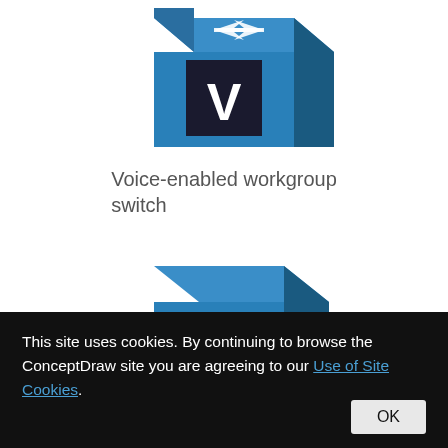[Figure (illustration): Blue 3D cube icon representing a voice-enabled workgroup switch, with a white 'V' letter on a dark square on the front face and white arrows on the top face]
Voice-enabled workgroup switch
[Figure (illustration): Blue 3D cube icon with a white X-shaped arrow symbol on the front face, partially cropped at bottom]
This site uses cookies. By continuing to browse the ConceptDraw site you are agreeing to our Use of Site Cookies.